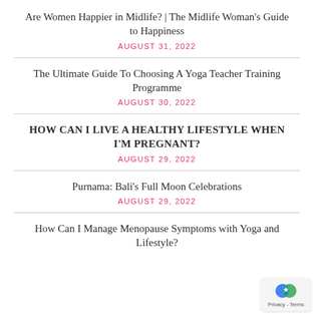Are Women Happier in Midlife? | The Midlife Woman's Guide to Happiness
AUGUST 31, 2022
The Ultimate Guide To Choosing A Yoga Teacher Training Programme
AUGUST 30, 2022
HOW CAN I LIVE A HEALTHY LIFESTYLE WHEN I'M PREGNANT?
AUGUST 29, 2022
Purnama: Bali's Full Moon Celebrations
AUGUST 29, 2022
How Can I Manage Menopause Symptoms with Yoga and Lifestyle?